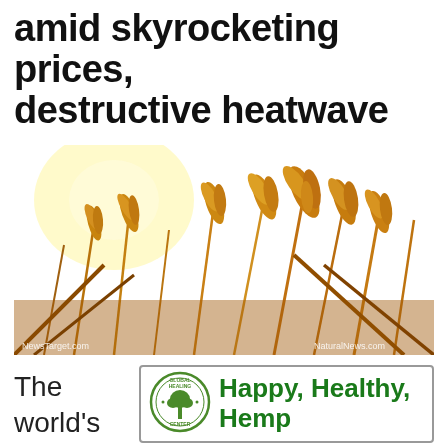amid skyrocketing prices, destructive heatwave
[Figure (photo): Close-up photograph of golden wheat stalks in a field with warm sunlight, watermarked with NewsTarget.com and NaturalNews.com]
The world's
[Figure (logo): Global Healing Center circular logo with tree graphic]
Happy, Healthy, Hemp